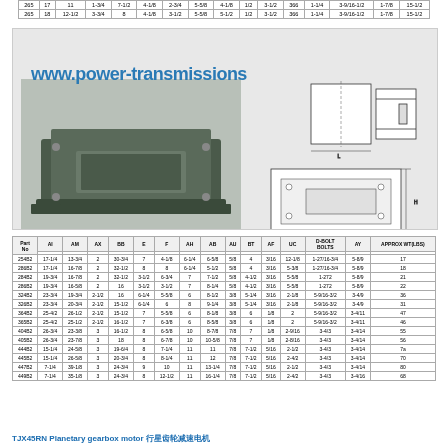| 265 | 17 | 11 | 1-3/4 | 7-1/2 | 4-1/8 | 2-3/4 | 5-5/8 | 4-1/8 | 1/2 | 3-1/2 | 366 | 1-1/4 | 3-9/16-1/2 | 1-7/8 | 15-1/2 |
| 265 | 18 | 12-1/2 | 3-3/4 | 8 | 4-1/8 | 3-1/2 | 5-5/8 | 5-1/2 | 1/2 | 3-1/2 | 366 | 1-1/4 | 3-9/16-1/2 | 1-7/8 | 15-1/2 |
[Figure (photo): Product photo of a metal mounting base/plate (dark green/grey), a technical engineering drawing showing front and side views with dimension labels]
| Part No | AI | AM | AX | BB | E | F | AH | AB | AU | BT | AF | UC | D-BOLT BOLTS | AY | APPROX WT(LBS) |
| --- | --- | --- | --- | --- | --- | --- | --- | --- | --- | --- | --- | --- | --- | --- | --- |
| 254B2 | 17-1/4 | 13-3/4 | 2 | 30-3/4 | 7 | 4-1/8 | 6-1/4 | 6-5/8 | 5/8 | 4 | 3/16 | 12-1/8 | 1-27/16-3/4 | 5-8/9 | 17 |
| 286B2 | 17-1/4 | 16-7/8 | 2 | 32-1/2 | 8 | 8 | 6-1/4 | 5-1/2 | 5/8 | 4 | 3/16 | 5-3/8 | 1-27/16-3/4 | 5-8/9 | 18 |
| 284B2 | 19-3/4 | 16-7/8 | 2 | 32-1/2 | 3-1/2 | 6-3/4 | 7 | 7-1/2 | 5/8 | 4-1/2 | 3/16 | 5-5/8 | 1-272 | 5-8/9 | 21 |
| 286B2 | 19-3/4 | 16-5/8 | 2 | 16 | 3-1/2 | 3-1/2 | 7 | 8-1/4 | 5/8 | 4-1/2 | 3/16 | 5-5/8 | 1-272 | 5-8/9 | 22 |
| 324B2 | 23-3/4 | 19-3/4 | 2-1/2 | 16 | 6-1/4 | 5-5/8 | 6 | 8-1/2 | 3/8 | 5-1/4 | 3/16 | 2-1/8 | 5-9/16-3/2 | 3-4/9 | 36 |
| 326B2 | 23-3/4 | 20-3/4 | 2-1/2 | 15-1/2 | 6-1/4 | 6 | 8 | 9-1/4 | 3/8 | 5-1/4 | 3/16 | 2-1/8 | 5-9/16-3/2 | 3-4/9 | 31 |
| 364B2 | 25-4/2 | 26-1/2 | 2-1/2 | 15-1/2 | 7 | 5-5/8 | 6 | 8-1/8 | 3/8 | 6 | 1/8 | 2 | 5-9/16-3/2 | 3-4/11 | 47 |
| 365B2 | 25-4/2 | 25-1/2 | 2-1/2 | 16-1/2 | 7 | 6-3/8 | 6 | 8-5/8 | 3/8 | 6 | 1/8 | 2 | 5-9/16-3/2 | 3-4/11 | 46 |
| 404B2 | 26-3/4 | 23-3/8 | 3 | 16-1/2 | 8 | 6-5/8 | 10 | 8-7/8 | 7/8 | 7 | 1/8 | 2-9/16 | 3-4/3 | 3-4/14 | 55 |
| 405B2 | 26-3/4 | 23-7/8 | 3 | 18 | 8 | 6-7/8 | 10 | 10-5/8 | 7/8 | 7 | 1/8 | 2-8/16 | 3-4/3 | 3-4/14 | 56 |
| 444B2 | 15-1/4 | 24-5/8 | 3 | 19-6/4 | 8 | 7-1/4 | 11 | 11 | 7/8 | 7-1/2 | 5/16 | 2-1/2 | 3-4/3 | 3-4/14 | 7a |
| 445B2 | 15-1/4 | 26-5/8 | 3 | 20-3/4 | 8 | 8-1/4 | 11 | 12 | 7/8 | 7-1/2 | 5/16 | 2-4/2 | 3-4/3 | 3-4/14 | 70 |
| 447B2 | 7-1/4 | 39-1/8 | 3 | 24-3/4 | 9 | 10 | 11 | 13-1/4 | 7/8 | 7-1/2 | 5/16 | 2-1/2 | 3-4/3 | 3-4/14 | 80 |
| 449B2 | 7-1/4 | 35-1/8 | 3 | 24-3/4 | 8 | 12-1/2 | 11 | 16-1/4 | 7/8 | 7-1/2 | 5/16 | 2-4/2 | 3-4/3 | 3-4/16 | 68 |
TJX45RN Planetary gearbox motor 行星齿轮减速电机